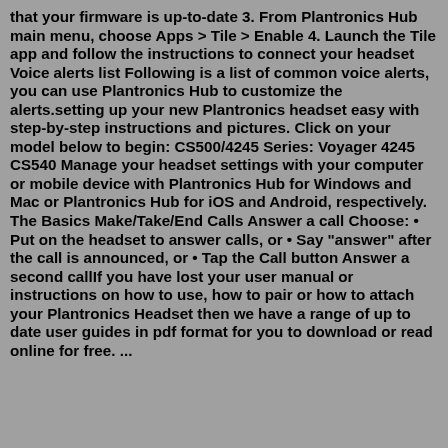that your firmware is up-to-date 3. From Plantronics Hub main menu, choose Apps > Tile > Enable 4. Launch the Tile app and follow the instructions to connect your headset Voice alerts list Following is a list of common voice alerts, you can use Plantronics Hub to customize the alerts.setting up your new Plantronics headset easy with step-by-step instructions and pictures. Click on your model below to begin: CS500/4245 Series: Voyager 4245 CS540 Manage your headset settings with your computer or mobile device with Plantronics Hub for Windows and Mac or Plantronics Hub for iOS and Android, respectively. The Basics Make/Take/End Calls Answer a call Choose: • Put on the headset to answer calls, or • Say "answer" after the call is announced, or • Tap the Call button Answer a second callIf you have lost your user manual or instructions on how to use, how to pair or how to attach your Plantronics Headset then we have a range of up to date user guides in pdf format for you to download or read online for free. ...